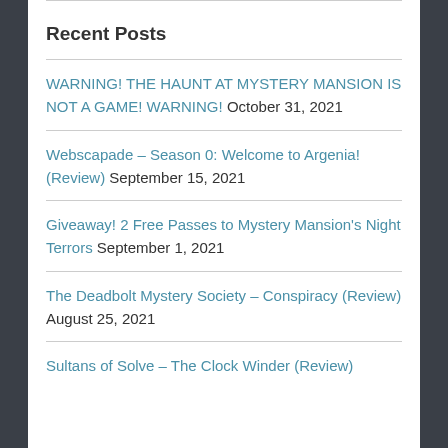Recent Posts
WARNING! THE HAUNT AT MYSTERY MANSION IS NOT A GAME! WARNING! October 31, 2021
Webscapade – Season 0: Welcome to Argenia! (Review) September 15, 2021
Giveaway! 2 Free Passes to Mystery Mansion's Night Terrors September 1, 2021
The Deadbolt Mystery Society – Conspiracy (Review) August 25, 2021
Sultans of Solve – The Clock Winder (Review)